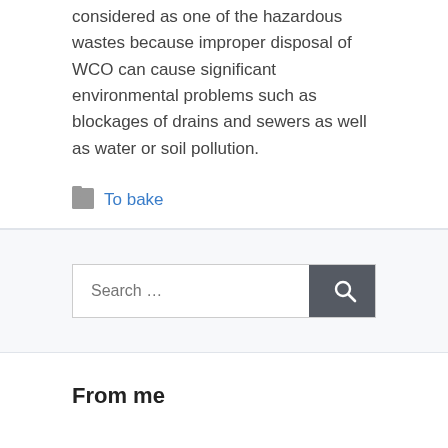considered as one of the hazardous wastes because improper disposal of WCO can cause significant environmental problems such as blockages of drains and sewers as well as water or soil pollution.
To bake
[Figure (other): Search bar with text field showing 'Search …' placeholder and a dark grey search button with magnifying glass icon]
From me